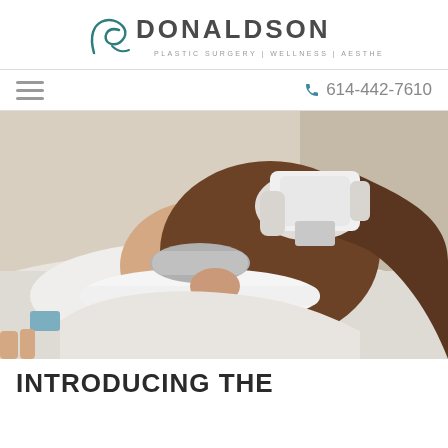DONALDSON PLASTIC SURGERY | WELLNESS | AESTHETICS
614-442-7610
[Figure (photo): A woman lying on a treatment table receiving a laser or light-based facial treatment. She wears a white headband and protective eye shields. A gloved hand holds a white handheld device near her face. The image is taken in a clinical aesthetic setting.]
INTRODUCING THE